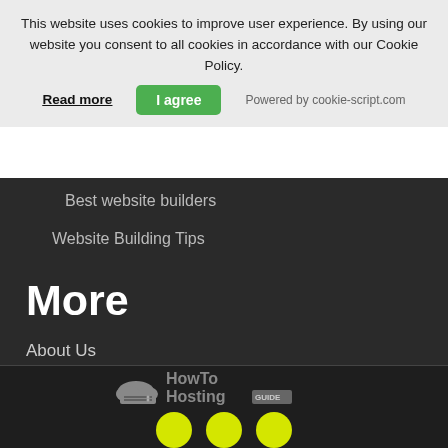This website uses cookies to improve user experience. By using our website you consent to all cookies in accordance with our Cookie Policy.
Read more
I agree
Powered by cookie-script.com
Best website builders
Website Building Tips
More
About Us
Privacy Policy
Contact Us
Disclosure
[Figure (logo): HowToHosting GUIDE logo with cloud/server icon and yellow social media icons below]